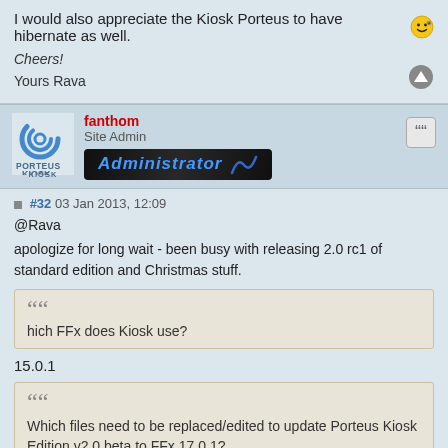I would also appreciate the Kiosk Porteus to have hibernate as well. 😊
Cheers!
Yours Rava
fanthom
Site Admin
Administrator
#32 03 Jan 2013, 12:09
@Rava
apologize for long wait - been busy with releasing 2.0 rc1 of standard edition and Christmas stuff.
hich FFx does Kiosk use?
15.0.1
Which files need to be replaced/edited to update Porteus Kiosk Edition v2.0 beta to FFx 17.0.1?